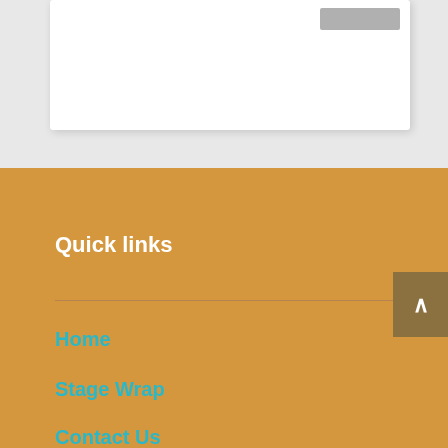[Figure (screenshot): Top portion of a web page showing a white card with a grey button in the top-right corner, on a light grey background]
Quick links
Home
Stage Wrap
Contact Us